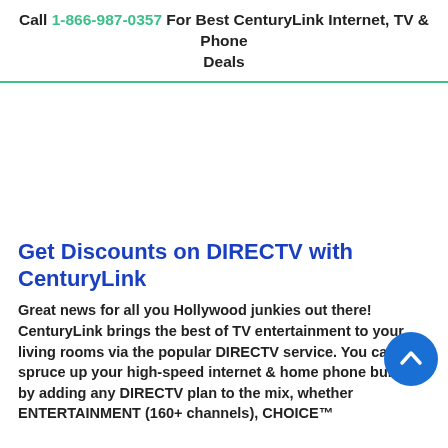Call 1-866-987-0357 For Best CenturyLink Internet, TV & Phone Deals
Get Discounts on DIRECTV with CenturyLink
Great news for all you Hollywood junkies out there! CenturyLink brings the best of TV entertainment to your living rooms via the popular DIRECTV service. You can spruce up your high-speed internet & home phone bundle by adding any DIRECTV plan to the mix, whether ENTERTAINMENT (160+ channels), CHOICE™...